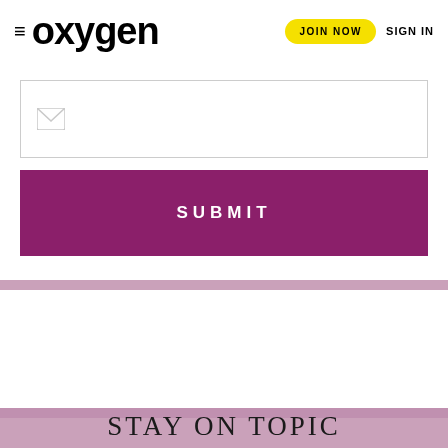oxygen | JOIN NOW | SIGN IN
[Figure (screenshot): Email input field with envelope icon]
SUBMIT
STAY ON TOPIC